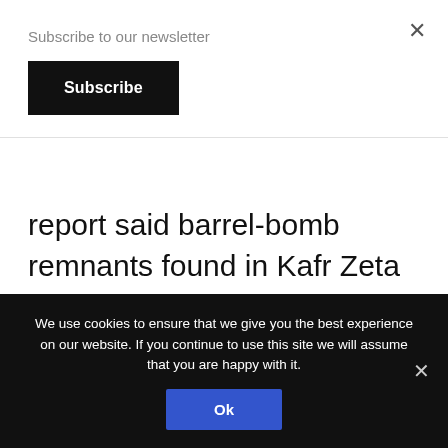Subscribe to our newsletter
Subscribe
report said barrel-bomb remnants found in Kafr Zeta and Talmenes included yellow cylinders bearing the chemical symbol for chlorine, “CL2.”
Syria’s fingerprints on the 2013 sarin
We use cookies to ensure that we give you the best experience on our website. If you continue to use this site we will assume that you are happy with it.
Ok